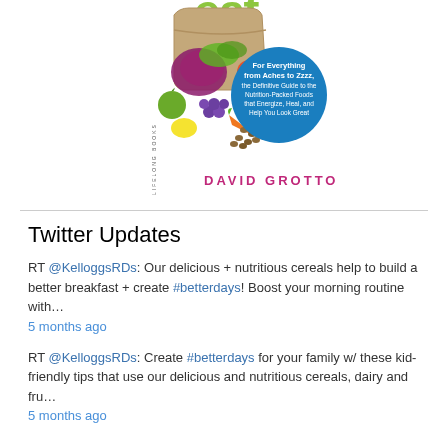[Figure (illustration): Book cover showing vegetables and fruits spilling from a paper bag. Title partially visible showing 'eat' in green. Blue circle badge reading 'For Everything from Aches to Zzzz, the Definitive Guide to the Nutrition-Packed Foods that Energize, Heal, and Help You Look Great'. Author name DAVID GROTTO in magenta/pink letters. LIFELONG BOOKS publisher text on spine.]
Twitter Updates
RT @KelloggsRDs: Our delicious + nutritious cereals help to build a better breakfast + create #betterdays! Boost your morning routine with…
5 months ago
RT @KelloggsRDs: Create #betterdays for your family w/ these kid-friendly tips that use our delicious and nutritious cereals, dairy and fru…
5 months ago